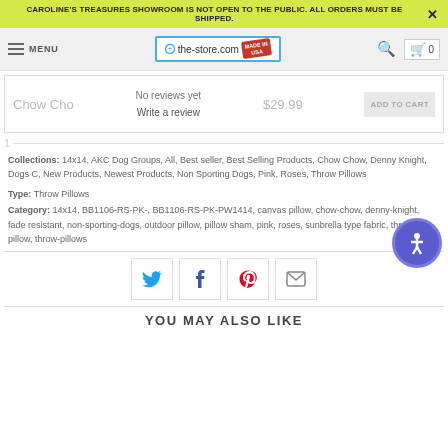CAROLINE'S TREASURES SHOWROOM IS NOT OPEN TO THE PUBLIC. ALL ORDERS MUST BE SHIPPED.
[Figure (logo): the-store.com logo with Made in USA stamp]
No reviews yet
Write a review
Chow Cho   $29.99   ADD TO CART
Collections: 14x14, AKC Dog Groups, All, Best seller, Best Selling Products, Chow Chow, Denny Knight, Dogs C, New Products, Newest Products, Non Sporting Dogs, Pink, Roses, Throw Pillows
Type: Throw Pillows
Category: 14x14, BB1106-RS-PK-, BB1106-RS-PK-PW1414, canvas pillow, chow-chow, denny-knight, fade resistant, non-sporting-dogs, outdoor pillow, pillow sham, pink, roses, sunbrella type fabric, throw pillow, throw-pillows
YOU MAY ALSO LIKE